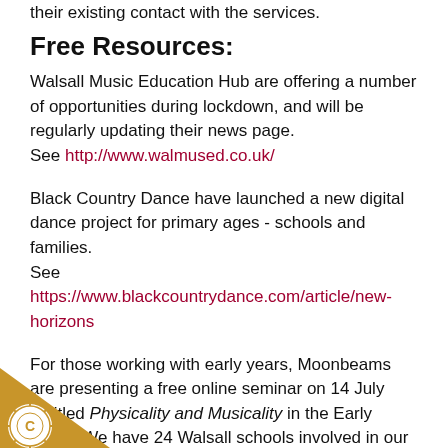their existing contact with the services.
Free Resources:
Walsall Music Education Hub are offering a number of opportunities during lockdown, and will be regularly updating their news page. See http://www.walmused.co.uk/
Black Country Dance have launched a new digital dance project for primary ages - schools and families. See https://www.blackcountrydance.com/article/new-horizons
For those working with early years, Moonbeams are presenting a free online seminar on 14 July entitled Physicality and Musicality in the Early Years. We have 24 Walsall schools involved in our a programme. The link network have put